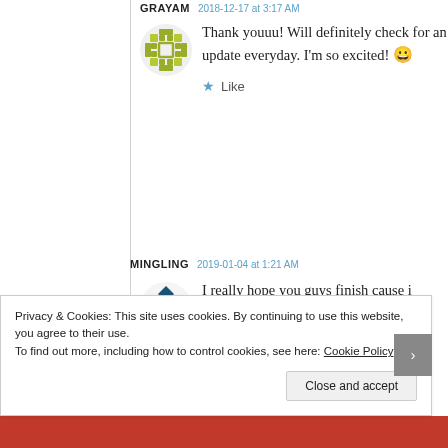GRAYAM  2018-12-17 at 3:17 AM
Thank youuu! Will definitely check for an update everyday. I'm so excited! 😀
★ Like
MINGLING  2019-01-04 at 1:21 AM
I really hope you guys finish cause i really want
Privacy & Cookies: This site uses cookies. By continuing to use this website, you agree to their use.
To find out more, including how to control cookies, see here: Cookie Policy
Close and accept